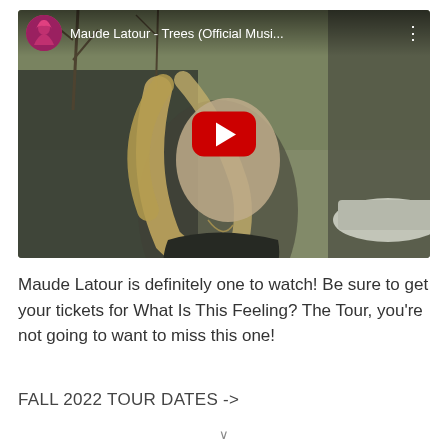[Figure (screenshot): YouTube video thumbnail for 'Maude Latour - Trees (Official Musi...' showing a young blonde woman outdoors near cars and bare trees. A red YouTube play button is centered on the video. The top bar shows the channel icon (a figure in red hood) and the video title.]
Maude Latour is definitely one to watch! Be sure to get your tickets for What Is This Feeling? The Tour, you're not going to want to miss this one!
FALL 2022 TOUR DATES ->